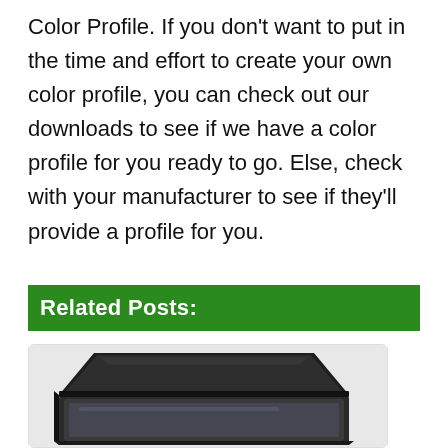Color Profile. If you don't want to put in the time and effort to create your own color profile, you can check out our downloads to see if we have a color profile for you ready to go. Else, check with your manufacturer to see if they'll provide a profile for you.
Related Posts:
[Figure (photo): A black flatbed scanner with its lid partially open, viewed from above at an angle.]